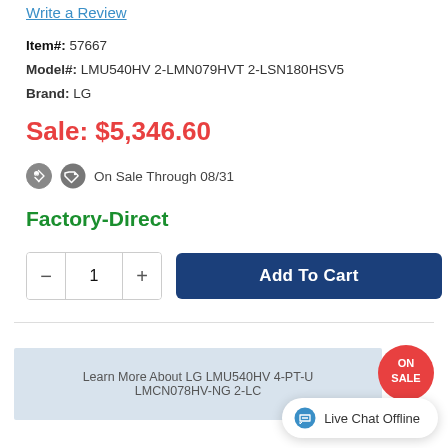Write a Review
Item#: 57667
Model#: LMU540HV 2-LMN079HVT 2-LSN180HSV5
Brand: LG
Sale: $5,346.60
On Sale Through 08/31
Factory-Direct
1
Add To Cart
[Figure (screenshot): Banner image for LG LMU540HV 4-PT-U LMCN078HV-NG 2-LC product with ON SALE badge]
Live Chat Offline